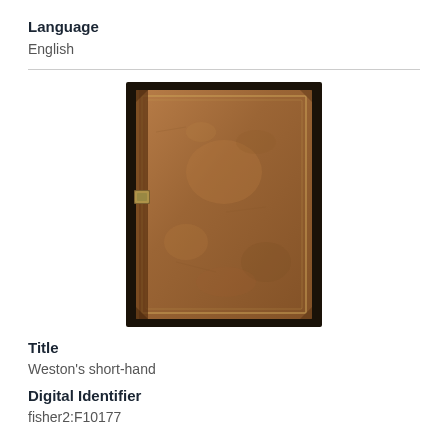Language
English
[Figure (photo): An old leather-bound book with worn brown cover, centered on page.]
Title
Weston's short-hand
Digital Identifier
fisher2:F10177